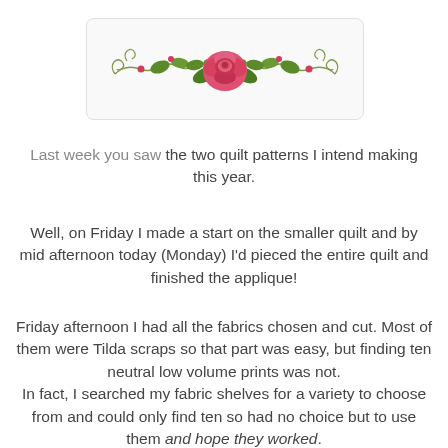[Figure (illustration): A decorative floral illustration with a pink rose in the center, green leaves, and curling vine tendrils with small red buds, inside a rounded rectangle box.]
Last week you saw the two quilt patterns I intend making this year.
Well, on Friday I made a start on the smaller quilt and by mid afternoon today (Monday) I'd pieced the entire quilt and finished the applique!
Friday afternoon I had all the fabrics chosen and cut. Most of them were Tilda scraps so that part was easy, but finding ten neutral low volume prints was not.
In fact, I searched my fabric shelves for a variety to choose from and could only find ten so had no choice but to use them and hope they worked.